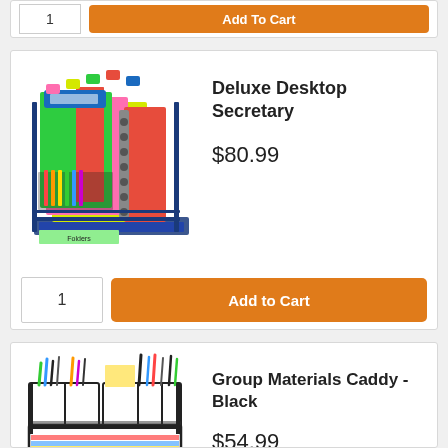[Figure (photo): Partial product card cut off at top showing quantity box and orange Add To Cart button]
[Figure (photo): Deluxe Desktop Secretary - a blue wire desktop organizer filled with colorful folders, notebooks, and supplies]
Deluxe Desktop Secretary
$80.99
1
Add to Cart
[Figure (photo): Group Materials Caddy - Black wire mesh caddy with pen/pencil holders on top and paper tray on bottom]
Group Materials Caddy - Black
$54.99